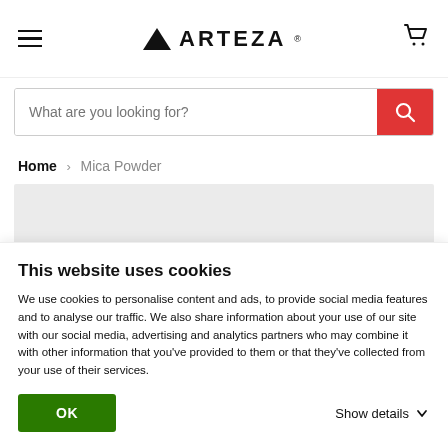[Figure (screenshot): Arteza website header with hamburger menu, triangle logo and ARTEZA wordmark, and shopping cart icon]
[Figure (screenshot): Search bar with placeholder text 'What are you looking for?' and red search button]
Home > Mica Powder
[Figure (other): Gray placeholder rectangle area]
This website uses cookies
We use cookies to personalise content and ads, to provide social media features and to analyse our traffic. We also share information about your use of our site with our social media, advertising and analytics partners who may combine it with other information that you've provided to them or that they've collected from your use of their services.
OK
Show details